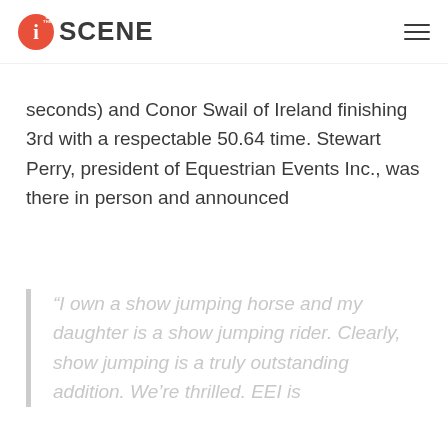i ON THE SCENE
seconds) and Conor Swail of Ireland finishing 3rd with a respectable 50.64 time. Stewart Perry, president of Equestrian Events Inc., was there in person and announced
“I own a show jumping horse and my daughter is a show jumping rider. Clearly, show jumping is a truly outstanding addition. We’re thrilled. EEI is